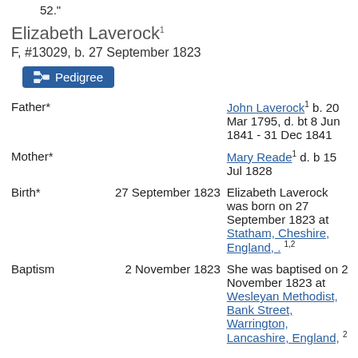52."
Elizabeth Laverock1
F, #13029, b. 27 September 1823
Pedigree
|  | Date | Detail |
| --- | --- | --- |
| Father* |  | John Laverock1 b. 20 Mar 1795, d. bt 8 Jun 1841 - 31 Dec 1841 |
| Mother* |  | Mary Reade1 d. b 15 Jul 1828 |
| Birth* | 27 September 1823 | Elizabeth Laverock was born on 27 September 1823 at Statham, Cheshire, England,. 1,2 |
| Baptism | 2 November 1823 | She was baptised on 2 November 1823 at Wesleyan Methodist, Bank Street, Warrington, Lancashire, England, 2 |